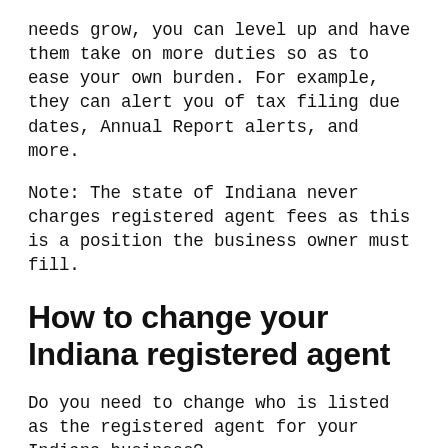needs grow, you can level up and have them take on more duties so as to ease your own burden. For example, they can alert you of tax filing due dates, Annual Report alerts, and more.
Note: The state of Indiana never charges registered agent fees as this is a position the business owner must fill.
How to change your Indiana registered agent
Do you need to change who is listed as the registered agent for your Indiana business?